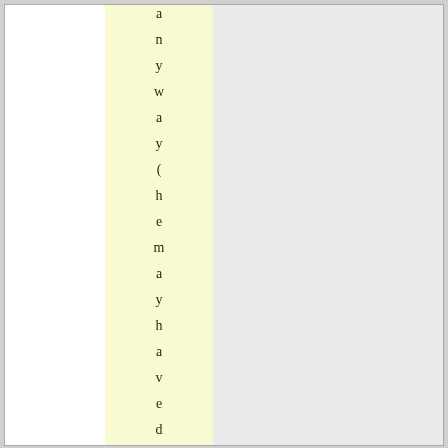anyway (he may have defended he